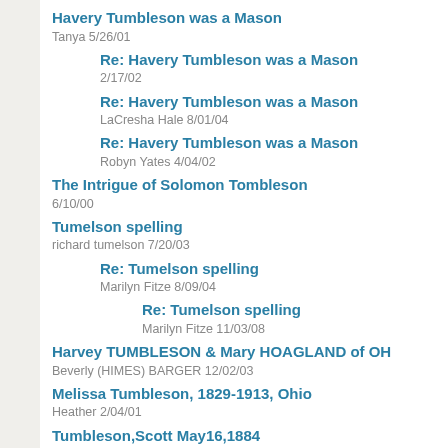Havery Tumbleson was a Mason
Tanya 5/26/01
Re: Havery Tumbleson was a Mason
2/17/02
Re: Havery Tumbleson was a Mason
LaCresha Hale 8/01/04
Re: Havery Tumbleson was a Mason
Robyn Yates 4/04/02
The Intrigue of Solomon Tombleson
6/10/00
Tumelson spelling
richard tumelson 7/20/03
Re: Tumelson spelling
Marilyn Fitze 8/09/04
Re: Tumelson spelling
Marilyn Fitze 11/03/08
Harvey TUMBLESON & Mary HOAGLAND of OH
Beverly (HIMES) BARGER 12/02/03
Melissa Tumbleson, 1829-1913, Ohio
Heather 2/04/01
Tumbleson,Scott May16,1884
7/26/00
Re: Tumbleson,Scott May16,1884